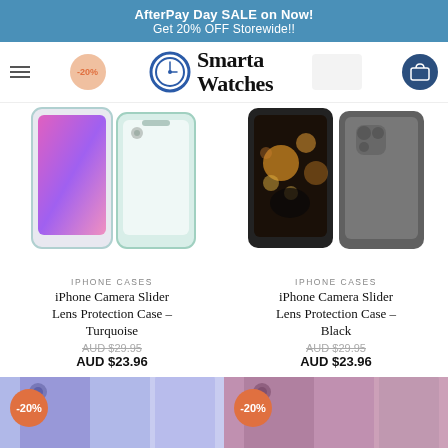AfterPay Day SALE on Now! Get 20% OFF Storewide!!
[Figure (logo): Smarta Watches logo with watch icon]
[Figure (photo): iPhone Camera Slider Lens Protection Case Turquoise - two phone views]
IPHONE CASES
iPhone Camera Slider Lens Protection Case – Turquoise
AUD $29.95 (strikethrough) AUD $23.96
[Figure (photo): iPhone Camera Slider Lens Protection Case Black - two phone views]
IPHONE CASES
iPhone Camera Slider Lens Protection Case – Black
AUD $29.95 (strikethrough) AUD $23.96
[Figure (photo): iPhone case in Lavender color with -20% badge]
[Figure (photo): iPhone case in Taro Purple color with -20% badge]